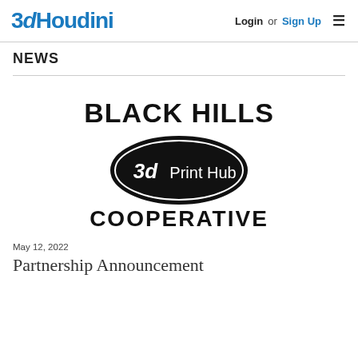3dHoudini — Login or Sign Up
NEWS
[Figure (logo): Black Hills 3d Print Hub Cooperative logo — bold black arched text 'BLACK HILLS' above a black oval badge with '3d Print Hub' in white, and 'COOPERATIVE' in large bold black text below]
May 12, 2022
Partnership Announcement